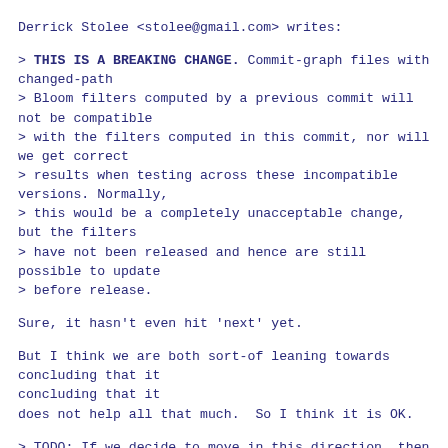Derrick Stolee <stolee@gmail.com> writes:
> THIS IS A BREAKING CHANGE. Commit-graph files with changed-path
> Bloom filters computed by a previous commit will not be compatible
> with the filters computed in this commit, nor will we get correct
> results when testing across these incompatible versions. Normally,
> this would be a completely unacceptable change, but the filters
> have not been released and hence are still possible to update
> before release.
Sure, it hasn't even hit 'next' yet.
But I think we are both sort-of leaning towards concluding that it
does not help all that much.  So I think it is OK.
> TODO: If we decide to move in this direction, then the following
> steps should be done (and some of them should be done anyway):
Even if we decide not to do this "downcase before hashing" thing, we